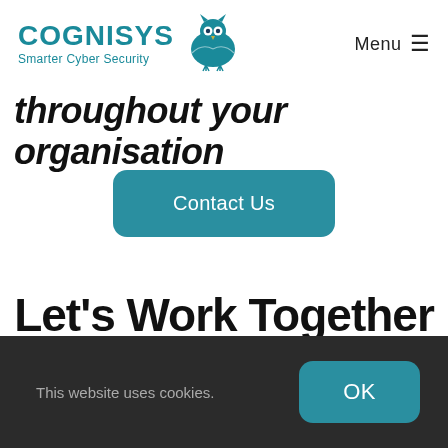[Figure (logo): Cognisys logo with owl icon and text 'COGNISYS Smarter Cyber Security' in teal, and Menu hamburger button on the right]
throughout your organisation
Contact Us
Let's Work Together to Create Your Perfect Test.
This website uses cookies.
OK